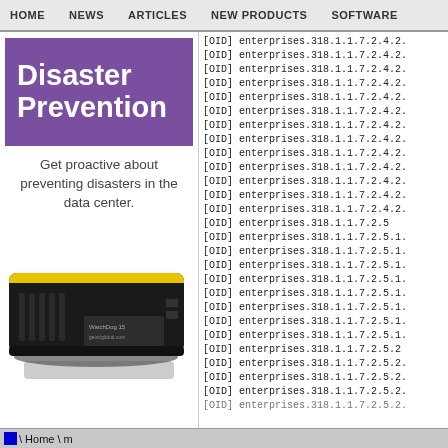HOME   NEWS   ARTICLES   NEW PRODUCTS   SOFTWARE
[Figure (screenshot): Purple banner with white bold text reading 'Disaster Prevention']
Get proactive about preventing disasters in the data center.
[Figure (photo): Black and yellow hardware device (WatchDog 15 by GEIST global), a data center monitoring appliance.]
[OID] enterprises.318.1.1.7.2.4.2.
[OID] enterprises.318.1.1.7.2.4.2.
[OID] enterprises.318.1.1.7.2.4.2.
[OID] enterprises.318.1.1.7.2.4.2.
[OID] enterprises.318.1.1.7.2.4.2.
[OID] enterprises.318.1.1.7.2.4.2.
[OID] enterprises.318.1.1.7.2.4.2.
[OID] enterprises.318.1.1.7.2.4.2.
[OID] enterprises.318.1.1.7.2.4.2.
[OID] enterprises.318.1.1.7.2.4.2.
[OID] enterprises.318.1.1.7.2.4.2.
[OID] enterprises.318.1.1.7.2.4.2.
[OID] enterprises.318.1.1.7.2.4.2.
[OID] enterprises.318.1.1.7.2.5
[OID] enterprises.318.1.1.7.2.5.1.
[OID] enterprises.318.1.1.7.2.5.1.
[OID] enterprises.318.1.1.7.2.5.1.
[OID] enterprises.318.1.1.7.2.5.1.
[OID] enterprises.318.1.1.7.2.5.1.
[OID] enterprises.318.1.1.7.2.5.1.
[OID] enterprises.318.1.1.7.2.5.1.
[OID] enterprises.318.1.1.7.2.5.1.
[OID] enterprises.318.1.1.7.2.5.2
[OID] enterprises.318.1.1.7.2.5.2.
[OID] enterprises.318.1.1.7.2.5.2.
[OID] enterprises.318.1.1.7.2.5.2.
\ Home \ m